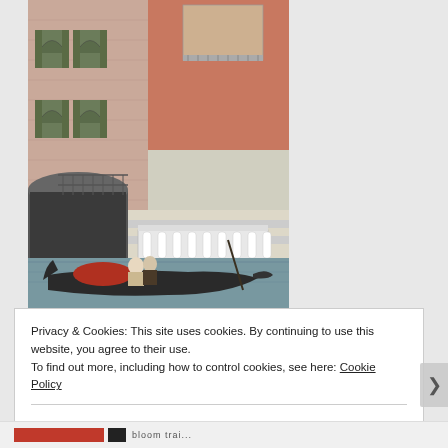[Figure (illustration): Illustration of a Venetian canal scene: a couple in a gondola in the foreground, with historic Venetian buildings—pink/terracotta brick facades, gothic arched windows with green shutters, ornate balconies—in the background. A bridge with iron railings arches over the canal. The gondola is dark with a red cushion.]
Privacy & Cookies: This site uses cookies. By continuing to use this website, you agree to their use.
To find out more, including how to control cookies, see here: Cookie Policy
Close and accept